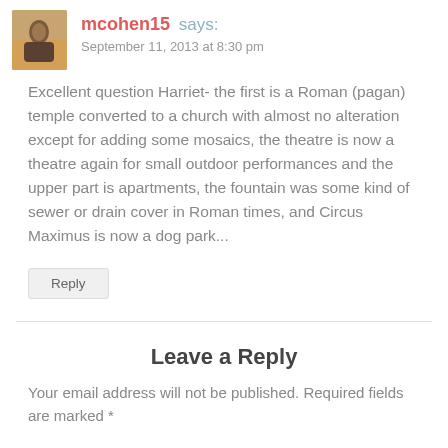mcohen15 says:
September 11, 2013 at 8:30 pm
Excellent question Harriet- the first is a Roman (pagan) temple converted to a church with almost no alteration except for adding some mosaics, the theatre is now a theatre again for small outdoor performances and the upper part is apartments, the fountain was some kind of sewer or drain cover in Roman times, and Circus Maximus is now a dog park...
Reply
Leave a Reply
Your email address will not be published. Required fields are marked *